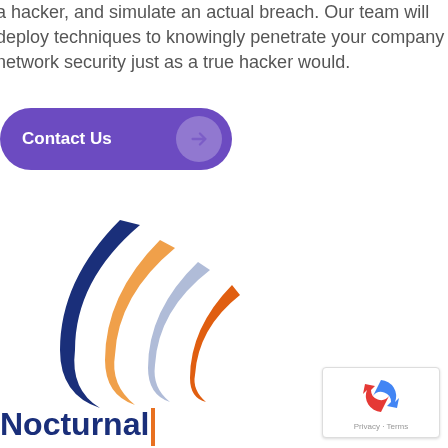a hacker, and simulate an actual breach. Our team will deploy techniques to knowingly penetrate your company network security just as a true hacker would.
[Figure (other): Purple 'Contact Us' button with right arrow icon]
[Figure (logo): Nocturnal company logo: swooping arc shapes in dark blue, orange, light blue, and orange forming a signal/wave motif]
Nocturnal|
[Figure (other): Google reCAPTCHA widget with privacy and terms links]